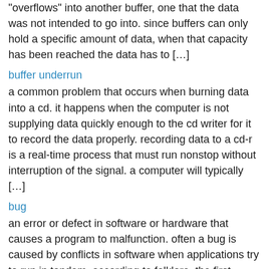“overflows” into another buffer, one that the data was not intended to go into. since buffers can only hold a specific amount of data, when that capacity has been reached the data has to […]
buffer underrun
a common problem that occurs when burning data into a cd. it happens when the computer is not supplying data quickly enough to the cd writer for it to record the data properly. recording data to a cd-r is a real-time process that must run nonstop without interruption of the signal. a computer will typically […]
bug
an error or defect in software or hardware that causes a program to malfunction. often a bug is caused by conflicts in software when applications try to run in tandem. according to folklore, the first computer bug was an actual bug. discovered in 1945 at harvard, a moth trapped between two electrical relays of the […]